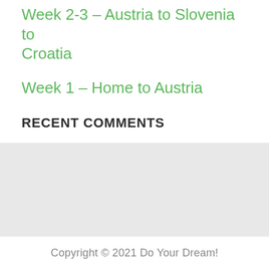Week 2-3 – Austria to Slovenia to Croatia
Week 1 – Home to Austria
RECENT COMMENTS
[Figure (other): Gray rectangular area, likely an advertisement or widget placeholder]
Copyright © 2021 Do Your Dream!